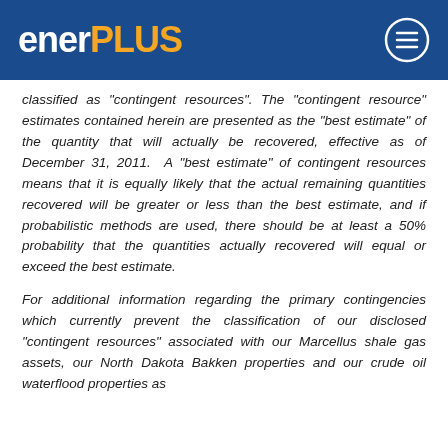enerPLUS
classified as "contingent resources". The "contingent resource" estimates contained herein are presented as the "best estimate" of the quantity that will actually be recovered, effective as of December 31, 2011.  A "best estimate" of contingent resources means that it is equally likely that the actual remaining quantities recovered will be greater or less than the best estimate, and if probabilistic methods are used, there should be at least a 50% probability that the quantities actually recovered will equal or exceed the best estimate.
For additional information regarding the primary contingencies which currently prevent the classification of our disclosed "contingent resources" associated with our Marcellus shale gas assets, our North Dakota Bakken properties and our crude oil waterflood properties as